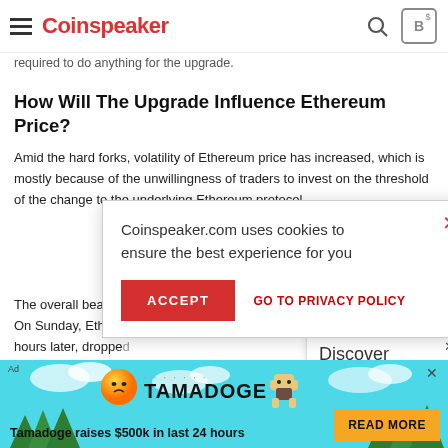Coinspeaker
required to do anything for the upgrade.
How Will The Upgrade Influence Ethereum Price?
Amid the hard forks, volatility of Ethereum price has increased, which is mostly because of the unwillingness of traders to invest on the threshold of the change to the underlying Ethereum protocol.
The overall bearish ... On Sunday, Ethereum ... hours later, dropped ... off.
Coinspeaker.com uses cookies to ensure the best experience for you
ACCEPT   GO TO PRIVACY POLICY
Discover Why
[Figure (screenshot): Ad banner with coin character and arrow]
[Figure (screenshot): Tamadoge bottom advertisement banner: Tamadoge raises $500k in last 24 hours. READ MORE button.]